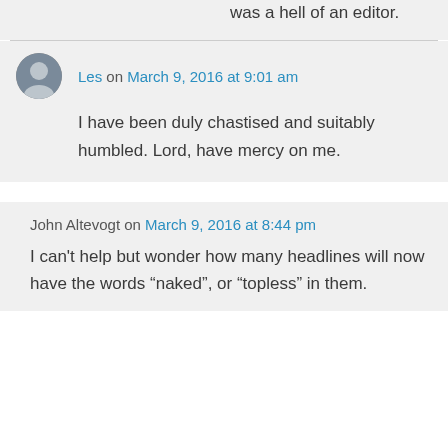was a hell of an editor.
Les on March 9, 2016 at 9:01 am
I have been duly chastised and suitably humbled. Lord, have mercy on me.
John Altevogt on March 9, 2016 at 8:44 pm
I can't help but wonder how many headlines will now have the words “naked”, or “topless” in them.